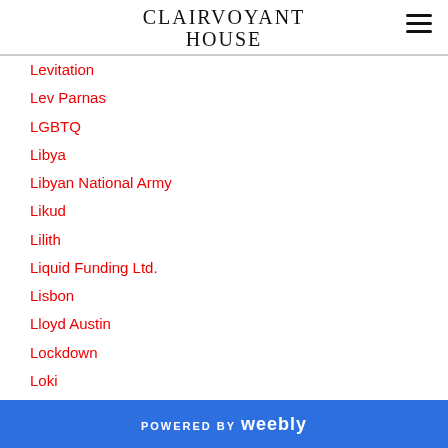CLAIRVOYANT HOUSE
Levitation
Lev Parnas
LGBTQ
Libya
Libyan National Army
Likud
Lilith
Liquid Funding Ltd.
Lisbon
Lloyd Austin
Lockdown
Loki
Lolita Express
London
POWERED BY weebly